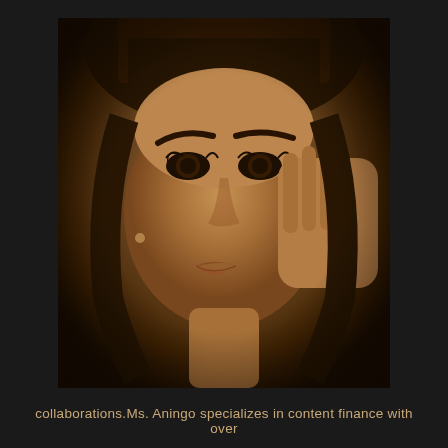[Figure (photo): Sepia-toned close-up portrait photograph of a young woman with bangs and wavy hair, resting her right hand against her cheek, looking slightly upward with dramatic eye makeup and full lips. The background is dark/black.]
collaborations.Ms. Aningo specializes in content finance with over